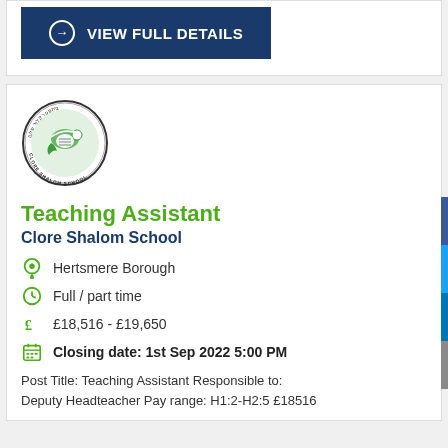[Figure (other): Dark blue button with circle-arrow icon and text VIEW FULL DETAILS]
[Figure (logo): Clore Shalom School circular logo with Hebrew text and a green bird/dove design]
Teaching Assistant
Clore Shalom School
Hertsmere Borough
Full / part time
£18,516 - £19,650
Closing date: 1st Sep 2022 5:00 PM
Post Title: Teaching Assistant Responsible to: Deputy Headteacher Pay range: H1:2-H2:5 £18516